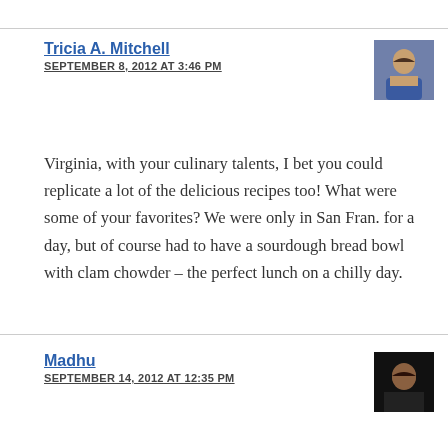Tricia A. Mitchell
SEPTEMBER 8, 2012 AT 3:46 PM
[Figure (photo): Avatar photo of Tricia A. Mitchell, a woman in a blue jacket]
Virginia, with your culinary talents, I bet you could replicate a lot of the delicious recipes too! What were some of your favorites? We were only in San Fran. for a day, but of course had to have a sourdough bread bowl with clam chowder – the perfect lunch on a chilly day.
Reply
Madhu
SEPTEMBER 14, 2012 AT 12:35 PM
[Figure (photo): Avatar photo of Madhu, a person with dark background]